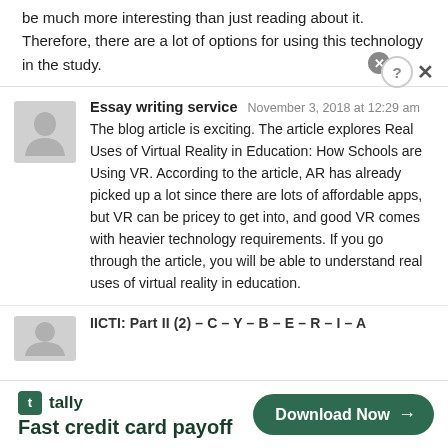be much more interesting than just reading about it. Therefore, there are a lot of options for using this technology in the study.
Essay writing service   November 3, 2018 at 12:29 am
The blog article is exciting. The article explores Real Uses of Virtual Reality in Education: How Schools are Using VR. According to the article, AR has already picked up a lot since there are lots of affordable apps, but VR can be pricey to get into, and good VR comes with heavier technology requirements. If you go through the article, you will be able to understand real uses of virtual reality in education.
IICTI: Part II (2) – C – Y – B – E – R – I – A
[Figure (infographic): Tally app advertisement banner: Fast credit card payoff, Download Now button]